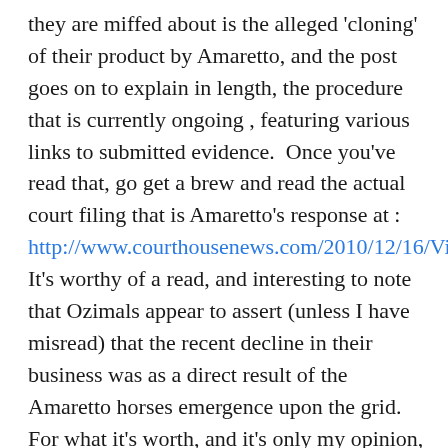they are miffed about is the alleged 'cloning' of their product by Amaretto, and the post goes on to explain in length, the procedure that is currently ongoing , featuring various links to submitted evidence.  Once you've read that, go get a brew and read the actual court filing that is Amaretto's response at : http://www.courthousenews.com/2010/12/16/Virtual.pdf  It's worthy of a read, and interesting to note that Ozimals appear to assert (unless I have misread) that the recent decline in their business was as a direct result of the Amaretto horses emergence upon the grid. For what it's worth, and it's only my opinion, the Ozimals bunnies product as a